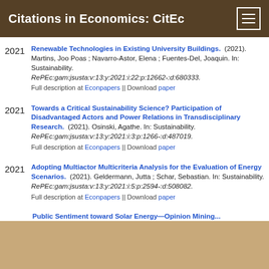Citations in Economics: CitEc
Renewable Technologies in Existing University Buildings. (2021). Martins, Joo Poas ; Navarro-Astor, Elena ; Fuentes-Del, Joaquin. In: Sustainability. RePEc:gam:jsusta:v:13:y:2021:i:22:p:12662-:d:680333. Full description at Econpapers || Download paper
Towards a Critical Sustainability Science? Participation of Disadvantaged Actors and Power Relations in Transdisciplinary Research. (2021). Osinski, Agathe. In: Sustainability. RePEc:gam:jsusta:v:13:y:2021:i:3:p:1266-:d:487019. Full description at Econpapers || Download paper
Adopting Multiactor Multicriteria Analysis for the Evaluation of Energy Scenarios. (2021). Geldermann, Jutta ; Schar, Sebastian. In: Sustainability. RePEc:gam:jsusta:v:13:y:2021:i:5:p:2594-:d:508082. Full description at Econpapers || Download paper
Public Sentiment toward Solar Energy—Opinion Mining...